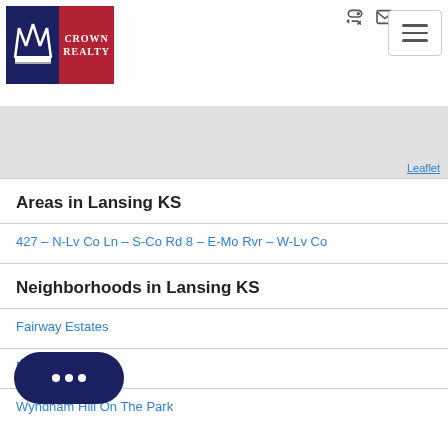[Figure (logo): Crown Realty logo with blue and red sections, crown icon, white text]
[Figure (map): Gray map area placeholder with Leaflet attribution link]
Areas in Lansing KS
427 - N-Lv Co Ln - S-Co Rd 8 - E-Mo Rvr - W-Lv Co
Neighborhoods in Lansing KS
Fairway Estates
Ridge
Wyndham Hill On The Park